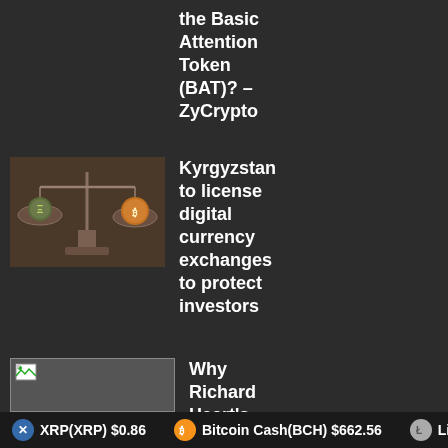the Basic Attention Token (BAT)? – ZyCrypto
[Figure (photo): Vintage balance scales with cryptocurrency coins (Ethereum and Bitcoin) on each side]
Kyrgyzstan to license digital currency exchanges to protect investors
[Figure (photo): Broken/missing image placeholder with small icon]
Why Richard Heart's Bitcoin Hex is a scam – Crypto
XRP(XRP) $0.86   Bitcoin Cash(BCH) $662.56   Litecoin(LT...